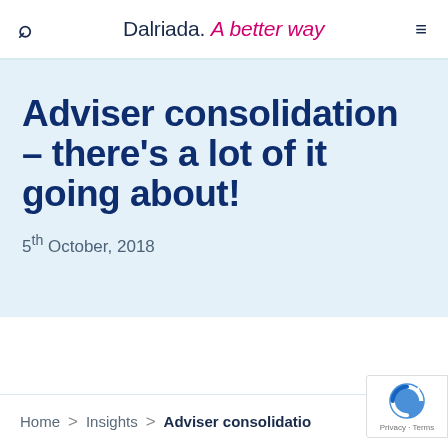Dalriada. A better way
Adviser consolidation – there's a lot of it going about!
5th October, 2018
Home > Insights > Adviser consolidation